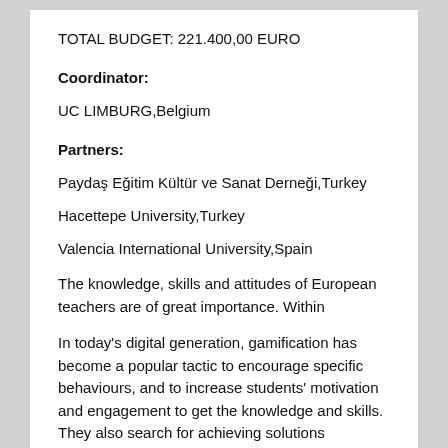TOTAL BUDGET: 221.400,00 EURO
Coordinator:
UC LIMBURG,Belgium
Partners:
Paydaş Eğitim Kültür ve Sanat Derneği,Turkey
Hacettepe University,Turkey
Valencia International University,Spain
The knowledge, skills and attitudes of European teachers are of great importance. Within
In today's digital generation, gamification has become a popular tactic to encourage specific behaviours, and to increase students' motivation and engagement to get the knowledge and skills. They also search for achieving solutions